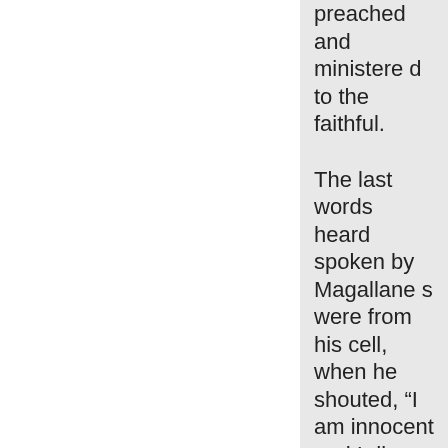preached and ministered to the faithful.
The last words heard spoken by Magallanes were from his cell, when he shouted, “I am innocent and I die